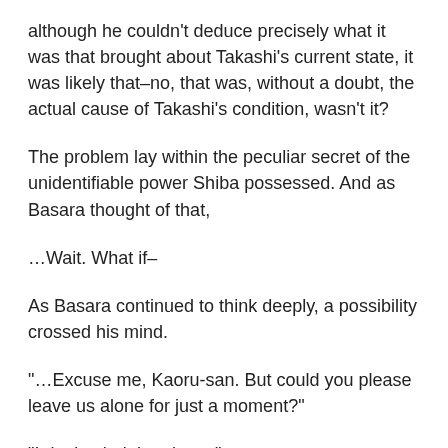although he couldn't deduce precisely what it was that brought about Takashi's current state, it was likely that–no, that was, without a doubt, the actual cause of Takashi's condition, wasn't it?
The problem lay within the peculiar secret of the unidentifiable power Shiba possessed. And as Basara thought of that,
…Wait. What if–
As Basara continued to think deeply, a possibility crossed his mind.
“…Excuse me, Kaoru-san. But could you please leave us alone for just a moment?”
“I don't mind that, but…”